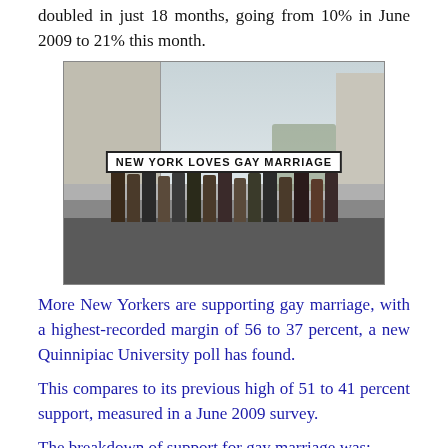doubled in just 18 months, going from 10% in June 2009 to 21% this month.
[Figure (photo): Street scene showing protesters holding a banner reading 'NEW YORK LOVES GAY MARRIAGE']
More New Yorkers are supporting gay marriage, with a highest-recorded margin of 56 to 37 percent, a new Quinnipiac University poll has found.
This compares to its previous high of 51 to 41 percent support, measured in a June 2009 survey.
The breakdown of support for gay marriage was: